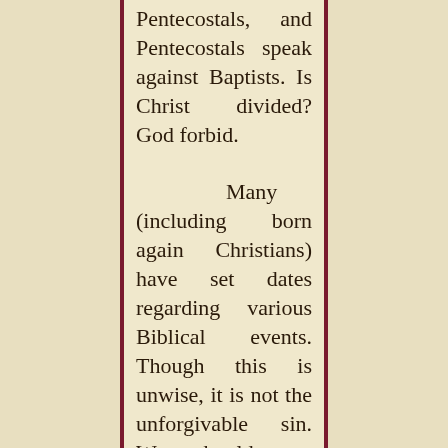Pentecostals, and Pentecostals speak against Baptists. Is Christ divided? God forbid.

Many (including born again Christians) have set dates regarding various Biblical events. Though this is unwise, it is not the unforgivable sin. We should not despise prophecy. We are commanded to know the times